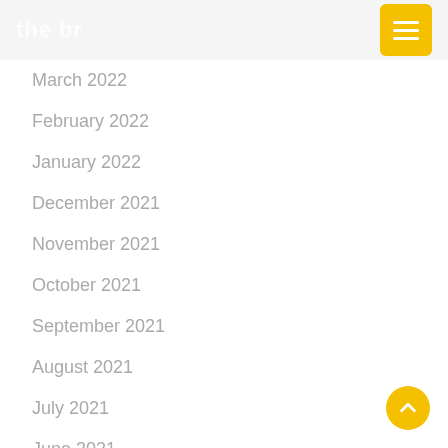the br
March 2022
February 2022
January 2022
December 2021
November 2021
October 2021
September 2021
August 2021
July 2021
June 2021
May 2021
April 2021
March 2021